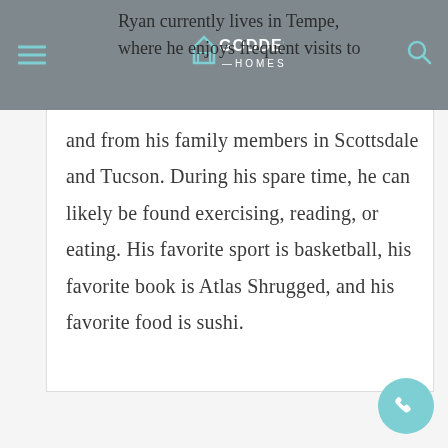Goddes Homes
Ryan currently lives in Tempe, where he enjoys frequent visits to and from his family members in Scottsdale and Tucson. During his spare time, he can likely be found exercising, reading, or eating. His favorite sport is basketball, his favorite book is Atlas Shrugged, and his favorite food is sushi.